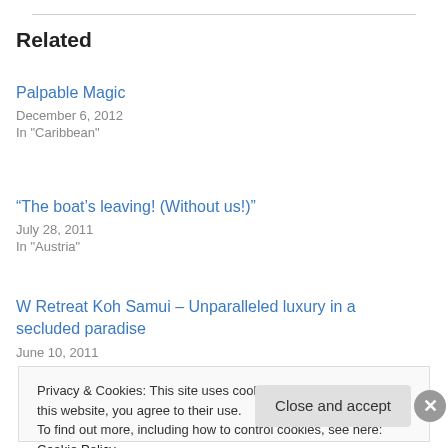Related
Palpable Magic
December 6, 2012
In "Caribbean"
“The boat’s leaving! (Without us!)”
July 28, 2011
In "Austria"
W Retreat Koh Samui – Unparalleled luxury in a secluded paradise
June 10, 2011
Privacy & Cookies: This site uses cookies. By continuing to use this website, you agree to their use.
To find out more, including how to control cookies, see here: Cookie Policy